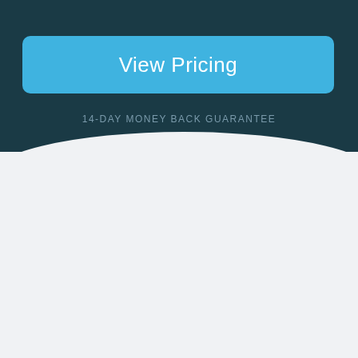View Pricing
14-DAY MONEY BACK GUARANTEE
[Figure (illustration): Mailbox icon with envelope letters flying out]
Content Notify
User-created content subscriptions and email alerts for WordPress.
[Figure (logo): Twitter bird logo icon]